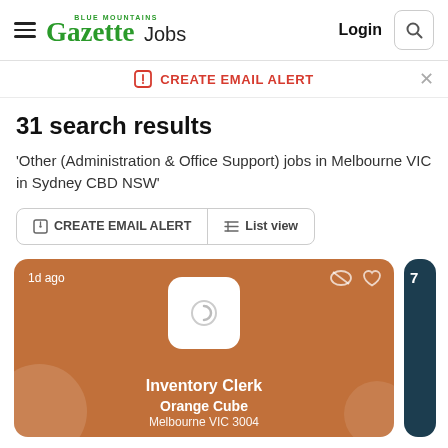Blue Mountains Gazette Jobs — Login
CREATE EMAIL ALERT
31 search results
'Other (Administration & Office Support) jobs in Melbourne VIC in Sydney CBD NSW'
CREATE EMAIL ALERT   List view
[Figure (screenshot): Job listing card with brown/terracotta background showing 'Inventory Clerk' at 'Orange Cube', Melbourne VIC 3004, posted 1d ago, with loading spinner placeholder for company logo]
Inventory Clerk
Orange Cube
Melbourne VIC 3004